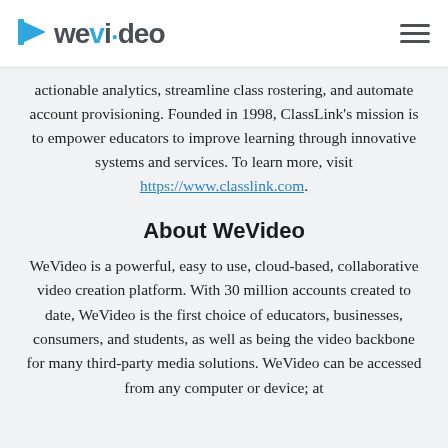WeVideo
actionable analytics, streamline class rostering, and automate account provisioning. Founded in 1998, ClassLink's mission is to empower educators to improve learning through innovative systems and services. To learn more, visit https://www.classlink.com.
About WeVideo
WeVideo is a powerful, easy to use, cloud-based, collaborative video creation platform. With 30 million accounts created to date, WeVideo is the first choice of educators, businesses, consumers, and students, as well as being the video backbone for many third-party media solutions. WeVideo can be accessed from any computer or device; at